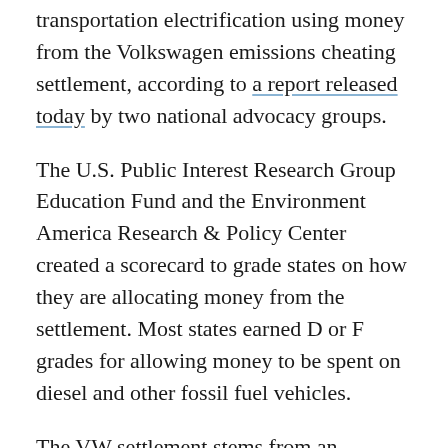states are missing opportunities to jumpstart transportation electrification using money from the Volkswagen emissions cheating settlement, according to a report released today by two national advocacy groups.
The U.S. Public Interest Research Group Education Fund and the Environment America Research & Policy Center created a scorecard to grade states on how they are allocating money from the settlement. Most states earned D or F grades for allowing money to be spent on diesel and other fossil fuel vehicles.
The VW settlement stems from an agreement federal authorities forged with the German